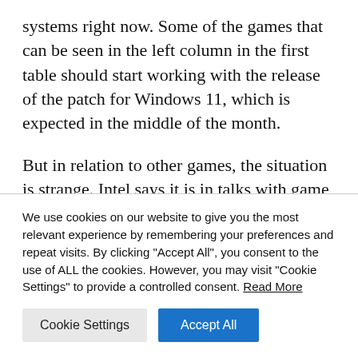systems right now. Some of the games that can be seen in the left column in the first table should start working with the release of the patch for Windows 11, which is expected in the middle of the month.
But in relation to other games, the situation is strange. Intel says it is in talks with game developers to help resolve the issue. At the same time, Denuvo developers report that they sent the
We use cookies on our website to give you the most relevant experience by remembering your preferences and repeat visits. By clicking "Accept All", you consent to the use of ALL the cookies. However, you may visit "Cookie Settings" to provide a controlled consent. Read More